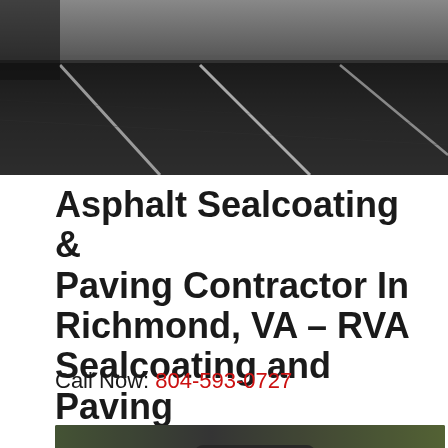[Figure (photo): Top banner photo of dark asphalt road with white lane markings, viewed from above/angle, black and white/dark tones]
Asphalt Sealcoating & Paving Contractor In Richmond, VA – RVA Sealcoating and Paving
Call Now: 804-593-0727
[Figure (photo): Bottom photo showing construction/paving equipment machinery, blurred background with yellow and green equipment]